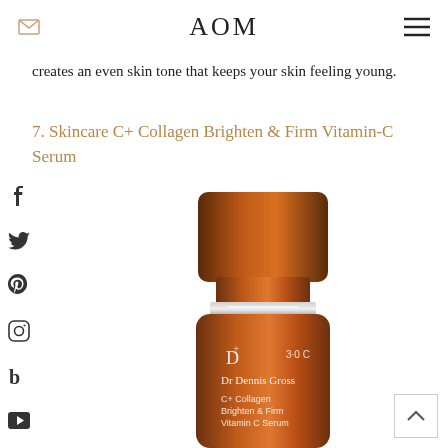AOM
creates an even skin tone that keeps your skin feeling young.
7. Skincare C+ Collagen Brighten & Firm Vitamin-C Serum
[Figure (photo): Brown/copper colored serum bottle labeled 'Dr Dennis Gross C+ Collagen Brighten & Firm Vitamin C Serum' with metallic cap and silver band detail]